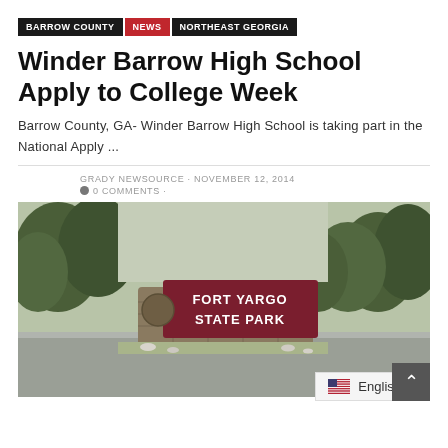BARROW COUNTY · NEWS · NORTHEAST GEORGIA
Winder Barrow High School Apply to College Week
Barrow County, GA- Winder Barrow High School is taking part in the National Apply ...
GRADY NEWSOURCE · NOVEMBER 12, 2014
● 0 COMMENTS ·
[Figure (photo): Entrance sign for Fort Yargo State Park, a stone monument with a dark red wooden sign reading FORT YARGO STATE PARK, surrounded by trees and a parking lot road.]